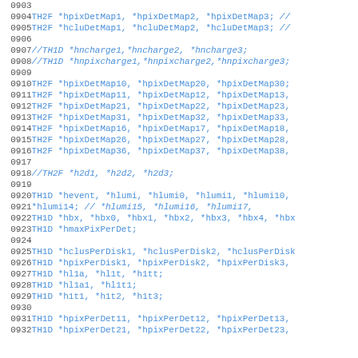Source code listing lines 0903-0932 with C++ variable declarations for histogram pointers
0903: (blank)
0904:   TH2F *hpixDetMap1, *hpixDetMap2, *hpixDetMap3;  //
0905:   TH2F *hcluDetMap1, *hcluDetMap2, *hcluDetMap3;  //
0906: (blank)
0907:   //TH1D *hncharge1,*hncharge2, *hncharge3;
0908:   //TH1D *hnpixcharge1,*hnpixcharge2,*hnpixcharge3;
0909: (blank)
0910:   TH2F *hpixDetMap10, *hpixDetMap20, *hpixDetMap30;
0911:   TH2F *hpixDetMap11, *hpixDetMap12, *hpixDetMap13,
0912:   TH2F *hpixDetMap21, *hpixDetMap22, *hpixDetMap23,
0913:   TH2F *hpixDetMap31, *hpixDetMap32, *hpixDetMap33,
0914:   TH2F *hpixDetMap16, *hpixDetMap17, *hpixDetMap18,
0915:   TH2F *hpixDetMap26, *hpixDetMap27, *hpixDetMap28,
0916:   TH2F *hpixDetMap36, *hpixDetMap37, *hpixDetMap38,
0917: (blank)
0918:   //TH2F *h2d1, *h2d2, *h2d3;
0919: (blank)
0920:   TH1D *hevent, *hlumi, *hlumi0, *hlumi1, *hlumi10,
0921:        *hlumi14;  //  *hlumi15, *hlumi16, *hlumi17,
0922:   TH1D *hbx, *hbx0, *hbx1, *hbx2, *hbx3, *hbx4, *hbx
0923:   TH1D *hmaxPixPerDet;
0924: (blank)
0925:   TH1D *hclusPerDisk1, *hclusPerDisk2, *hclusPerDisk
0926:   TH1D *hpixPerDisk1, *hpixPerDisk2, *hpixPerDisk3,
0927:   TH1D *hl1a, *hl1t, *h1tt;
0928:   TH1D *hl1a1, *hl1t1;
0929:   TH1D *h1t1, *h1t2, *h1t3;
0930: (blank)
0931:   TH1D *hpixPerDet11, *hpixPerDet12, *hpixPerDet13,
0932:   TH1D *hpixPerDet21, *hpixPerDet22, *hpixPerDet23,